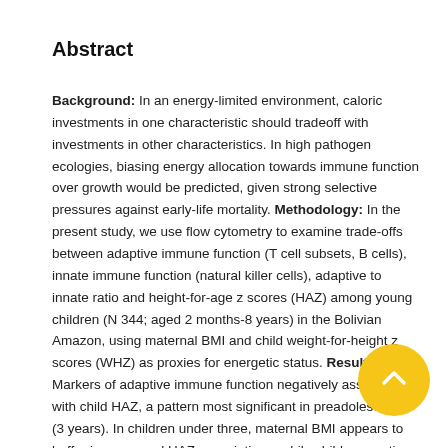Abstract
Background: In an energy-limited environment, caloric investments in one characteristic should tradeoff with investments in other characteristics. In high pathogen ecologies, biasing energy allocation towards immune function over growth would be predicted, given strong selective pressures against early-life mortality. Methodology: In the present study, we use flow cytometry to examine trade-offs between adaptive immune function (T cell subsets, B cells), innate immune function (natural killer cells), adaptive to innate ratio and height-for-age z scores (HAZ) among young children (N 344; aged 2 months-8 years) in the Bolivian Amazon, using maternal BMI and child weight-for-height z scores (WHZ) as proxies for energetic status. Results: Markers of adaptive immune function negatively associate with child HAZ, a pattern most significant in preadolescents (3 years). In children under three, maternal BMI appears to buffer immune and HAZ associations, while child energetic status (WHZ) moderates relationships in an unexpected direction: HAZ and immune associations are greater in preadolescents with higher WHZ. Children with low WHZ maintain similar levels